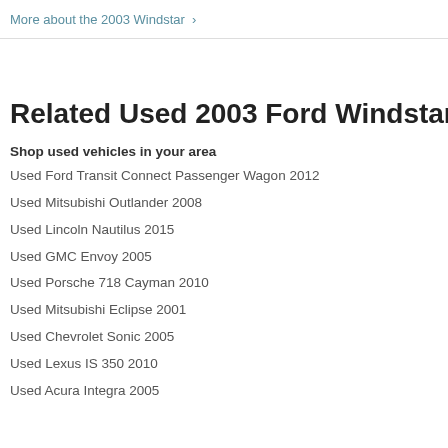More about the 2003 Windstar >
Related Used 2003 Ford Windstar info
Shop used vehicles in your area
Used Ford Transit Connect Passenger Wagon 2012
Used Mitsubishi Outlander 2008
Used Lincoln Nautilus 2015
Used GMC Envoy 2005
Used Porsche 718 Cayman 2010
Used Mitsubishi Eclipse 2001
Used Chevrolet Sonic 2005
Used Lexus IS 350 2010
Used Acura Integra 2005